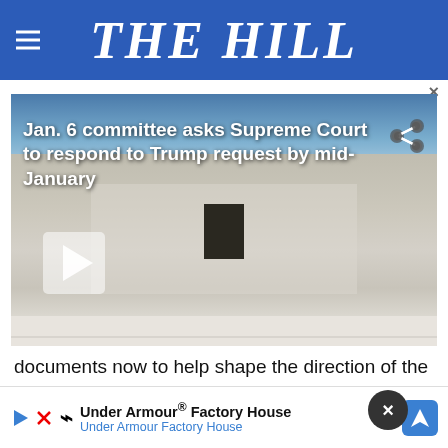THE HILL
[Figure (screenshot): Video thumbnail showing the U.S. Supreme Court building with overlay text: 'Jan. 6 committee asks Supreme Court to respond to Trump request by mid-January' and a play button icon]
documents now to help shape the direction of the investigation and allow the Select Committee to timely
wrote
[Figure (other): Under Armour Factory House advertisement banner with navigation icon]